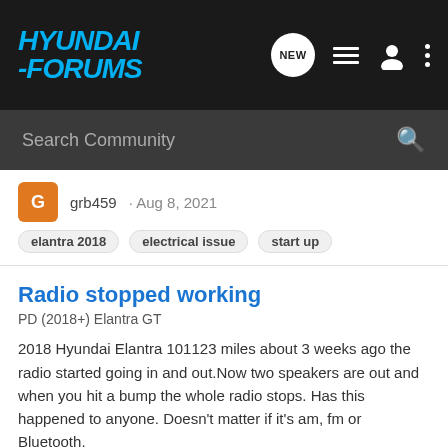HYUNDAI-FORUMS
Search Community
grb459 · Aug 8, 2021
elantra 2018
electrical issue
start up
Radio stopped working
PD (2018+) Elantra GT
2018 Hyundai Elantra 101123 miles about 3 weeks ago the radio started going in and out.Now two speakers are out and when you hit a bump the whole radio stops. Has this happened to anyone. Doesn't matter if it's am, fm or Bluetooth.
5   2K
EGriffith · Jul 31, 2021